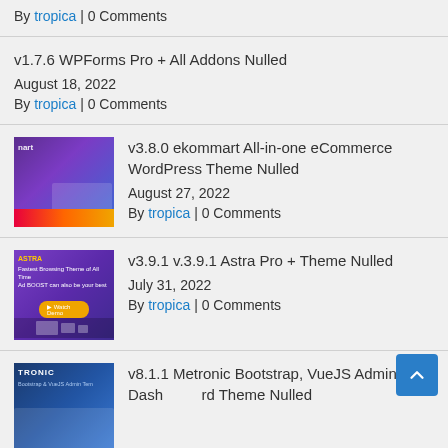By tropica | 0 Comments
v1.7.6 WPForms Pro + All Addons Nulled
August 18, 2022
By tropica | 0 Comments
[Figure (screenshot): ekommart theme screenshot with purple/blue gradient]
v3.8.0 ekommart All-in-one eCommerce WordPress Theme Nulled
August 27, 2022
By tropica | 0 Comments
[Figure (screenshot): Astra Pro theme screenshot with purple gradient]
v3.9.1 v.3.9.1 Astra Pro + Theme Nulled
July 31, 2022
By tropica | 0 Comments
[Figure (screenshot): Metronic Bootstrap VueJS Admin Dashboard theme screenshot]
v8.1.1 Metronic Bootstrap, VueJS Admin Dashboard Theme Nulled